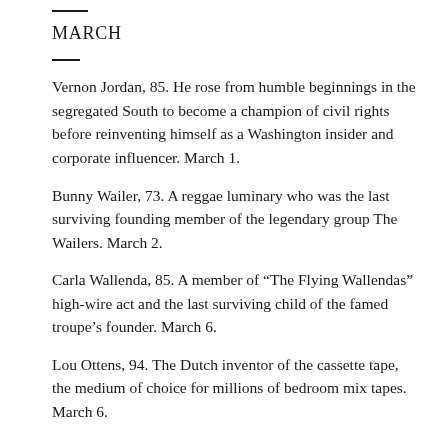MARCH
Vernon Jordan, 85. He rose from humble beginnings in the segregated South to become a champion of civil rights before reinventing himself as a Washington insider and corporate influencer. March 1.
Bunny Wailer, 73. A reggae luminary who was the last surviving founding member of the legendary group The Wailers. March 2.
Carla Wallenda, 85. A member of “The Flying Wallendas” high-wire act and the last surviving child of the famed troupe’s founder. March 6.
Lou Ottens, 94. The Dutch inventor of the cassette tape, the medium of choice for millions of bedroom mix tapes. March 6.